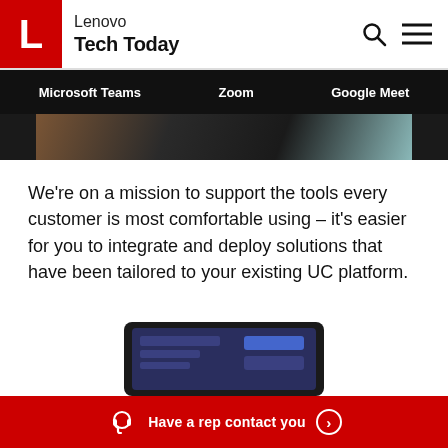Lenovo Tech Today
Microsoft Teams  Zoom  Google Meet
[Figure (photo): Cropped photo showing part of an office/meeting room environment with dark and teal tones]
We're on a mission to support the tools every customer is most comfortable using – it's easier for you to integrate and deploy solutions that have been tailored to your existing UC platform.
[Figure (photo): Bottom portion of a dark-colored tablet/conference device with screen showing interface elements]
Have a rep contact you  >